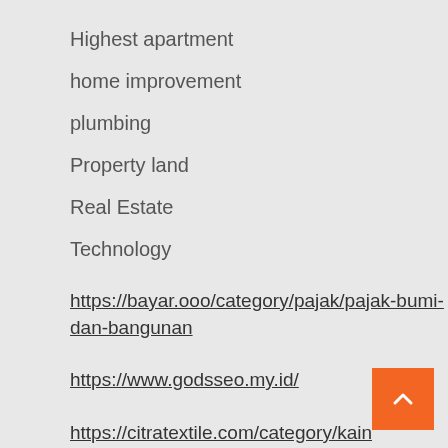Highest apartment
home improvement
plumbing
Property land
Real Estate
Technology
https://bayar.ooo/category/pajak/pajak-bumi-dan-bangunan
https://www.godsseo.my.id/
https://citratextile.com/category/kain